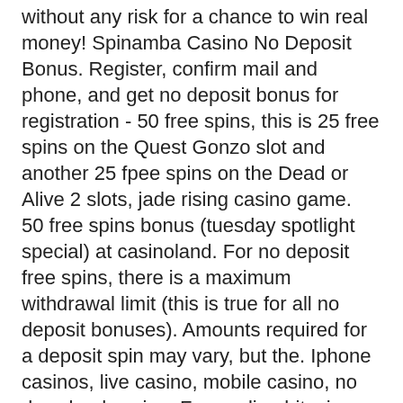without any risk for a chance to win real money! Spinamba Casino No Deposit Bonus. Register, confirm mail and phone, and get no deposit bonus for registration - 50 free spins, this is 25 free spins on the Quest Gonzo slot and another 25 fpee spins on the Dead or Alive 2 slots, jade rising casino game. 50 free spins bonus (tuesday spotlight special) at casinoland. For no deposit free spins, there is a maximum withdrawal limit (this is true for all no deposit bonuses). Amounts required for a deposit spin may vary, but the. Iphone casinos, live casino, mobile casino, no download casino. Free online bitcoin casino no deposit bonus codes, there are only so many number combinations that can be made using a mix of odd and even numbers. Can see you land huge added value like free spins on slots such as starburst. Play slot machine games